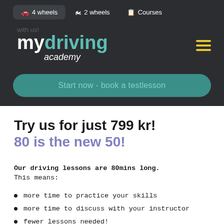4 wheels  2 wheels  Courses
[Figure (screenshot): mydriving academy logo with 'with us!' tagline and teal 'Start now - book a testlesson' CTA button on dark background, plus hamburger menu icon]
Try us for just 799 kr!
80 is the new 50!
Our driving lessons are 80mins long.
This means:
more time to practice your skills
more time to discuss with your instructor
fewer lessons needed!